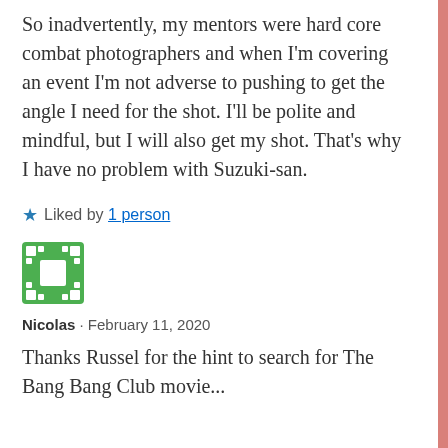So inadvertently, my mentors were hard core combat photographers and when I'm covering an event I'm not adverse to pushing to get the angle I need for the shot. I'll be polite and mindful, but I will also get my shot. That's why I have no problem with Suzuki-san.
★ Liked by 1 person
[Figure (illustration): Green decorative avatar/icon with a square cutout pattern]
Nicolas · February 11, 2020
Thanks Russel for the hint to search for The Bang Bang Club movie...